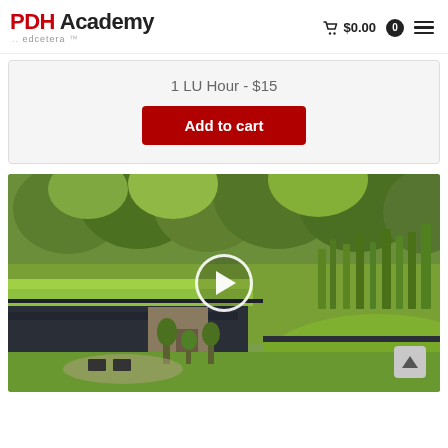PDH Academy  edcetera  $0.00  0
1 LU Hour - $15
Add to cart
[Figure (photo): Video thumbnail showing a modern building with a green living roof surrounded by trees and landscaping, with a play button overlay in the center]